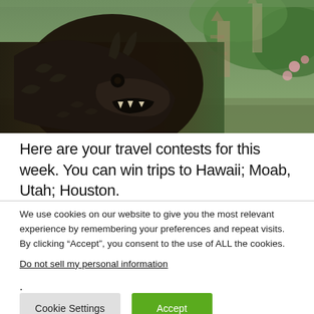[Figure (photo): A dark stone dragon or mythological guardian statue in close-up on the left, with a Balinese temple complex with pagodas and tropical greenery in the blurred background.]
Here are your travel contests for this week. You can win trips to Hawaii; Moab, Utah; Houston.
We use cookies on our website to give you the most relevant experience by remembering your preferences and repeat visits. By clicking “Accept”, you consent to the use of ALL the cookies.
Do not sell my personal information.
Cookie Settings | Accept